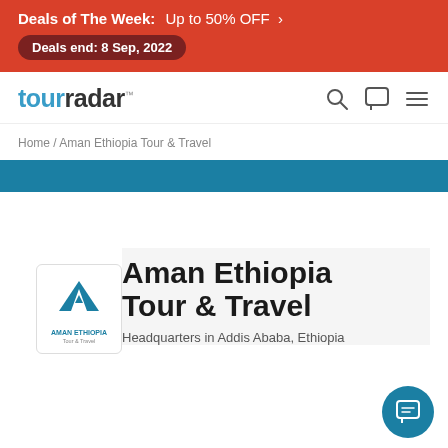Deals of The Week: Up to 50% OFF > | Deals end: 8 Sep, 2022
[Figure (logo): TourRadar navigation bar with logo, search icon, chat icon, and hamburger menu]
Home / Aman Ethiopia Tour & Travel
[Figure (other): Teal decorative band]
[Figure (logo): Aman Ethiopia Tour & Travel company logo in white box with blue mountain/tent icon]
Aman Ethiopia Tour & Travel
Headquarters in Addis Ababa, Ethiopia